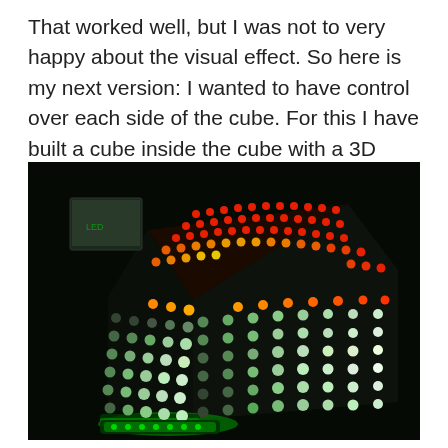That worked well, but I was not to very happy about the visual effect. So here is my next version: I wanted to have control over each side of the cube. For this I have built a cube inside the cube with a 3D printed structure:
[Figure (photo): A dark photograph of a large LED cube with a grid of LEDs on each visible face. The top face shows red/orange LEDs, the front and right faces show predominantly white/green LEDs arranged in a regular grid pattern. The cube sits on a green-lit base. Background is dark/black.]